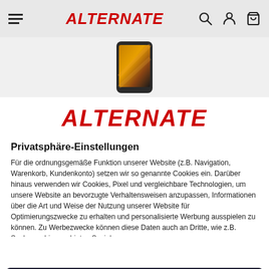ALTERNATE
[Figure (photo): Product image strip showing a smartphone (Samsung Galaxy) at the top of the page]
ALTERNATE
Privatsphäre-Einstellungen
Für die ordnungsgemäße Funktion unserer Website (z.B. Navigation, Warenkorb, Kundenkonto) setzen wir so genannte Cookies ein. Darüber hinaus verwenden wir Cookies, Pixel und vergleichbare Technologien, um unsere Website an bevorzugte Verhaltensweisen anzupassen, Informationen über die Art und Weise der Nutzung unserer Website für Optimierungszwecke zu erhalten und personalisierte Werbung ausspielen zu können. Zu Werbezwecke können diese Daten auch an Dritte, wie z.B. Suchmaschinenanbieter, Social
Alles akzeptieren
Nur notwendige Cookies
Powered by Usercentrics Consent Management